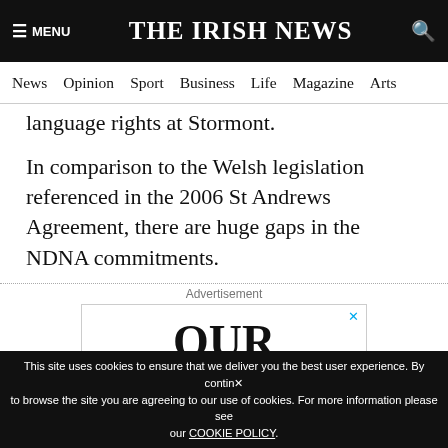☰ MENU   THE IRISH NEWS   🔍
News  Opinion  Sport  Business  Life  Magazine  Arts
language rights at Stormont.
In comparison to the Welsh legislation referenced in the 2006 St Andrews Agreement, there are huge gaps in the NDNA commitments.
Advertisement
[Figure (screenshot): Advertisement box showing large bold text 'OUR CUSTOMERS' with partial text below]
This site uses cookies to ensure that we deliver you the best user experience. By continuing to browse the site you are agreeing to our use of cookies. For more information please see our COOKIE POLICY.